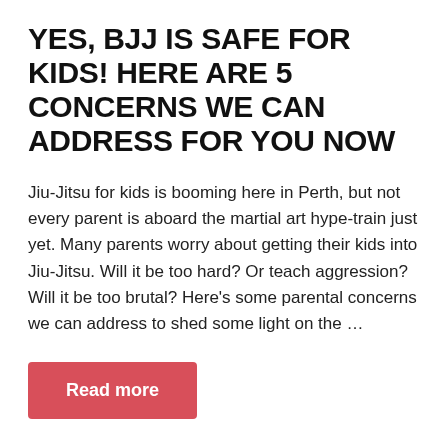YES, BJJ IS SAFE FOR KIDS! HERE ARE 5 CONCERNS WE CAN ADDRESS FOR YOU NOW
Jiu-Jitsu for kids is booming here in Perth, but not every parent is aboard the martial art hype-train just yet. Many parents worry about getting their kids into Jiu-Jitsu. Will it be too hard? Or teach aggression? Will it be too brutal? Here’s some parental concerns we can address to shed some light on the …
Read more
Blog